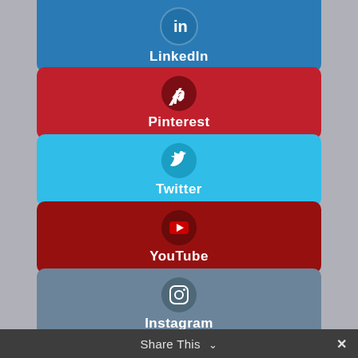[Figure (infographic): LinkedIn social media button card with LinkedIn 'in' icon in a circle on blue background]
[Figure (infographic): Pinterest social media button card with Pinterest 'P' icon in a dark circle on red background]
[Figure (infographic): Twitter social media button card with Twitter bird icon in a circle on light blue background]
[Figure (infographic): YouTube social media button card with YouTube play button icon in a dark circle on dark red background]
[Figure (infographic): Instagram social media button card with Instagram camera icon in a circle on muted blue-grey background]
Share This ∨  ✕